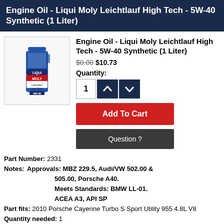Engine Oil - Liqui Moly Leichtlauf High Tech - 5W-40 Synthetic (1 Liter)
[Figure (photo): Product image of Liqui Moly Leichtlauf High Tech 5W-40 Synthetic 1 Liter oil bottle]
Engine Oil - Liqui Moly Leichtlauf High Tech - 5W-40 Synthetic (1 Liter)
$0.00 $10.73
Quantity:
Add To Cart
Question ?
Part Number: 2331
Notes: Approvals: MBZ 229.5, Audi/VW 502.00 & 505.00, Porsche A40. Meets Standards: BMW LL-01. ACEA A3, API SP
Part fits: 2010 Porsche Cayenne Turbo S Sport Utility 955 4.8L V8
Quantity needed: 1
Manufacturer: LIQUI MOLY LEICHTLAUF HT
[Figure (logo): Liqui Moly logo - LIQUI in blue text, MOLY in red text on red background]
Quantity in stock: 100
✓Ships today